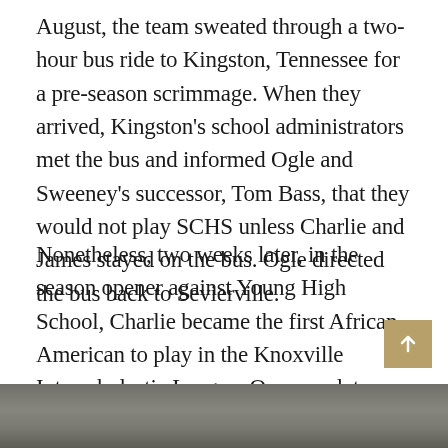August, the team sweated through a two-hour bus ride to Kingston, Tennessee for a pre-season scrimmage. When they arrived, Kingston's school administrators met the bus and informed Ogle and Sweeney's successor, Tom Bass, that they would not play SCHS unless Charlie and James stayed on the bus. Ogle directed the bus back to Sevierville.
Nonetheless, two weeks later, in the season opener against Young High School, Charlie became the first African-American to play in the Knoxville Interscholastic League. One year later, Knox County schools integrated. “My only regret,” Ogle later lamented, “is that I did not go to Mary McMahan first.”
[Figure (photo): A partial view of a historical photograph, appearing dark and grayscale, visible at the bottom of the page.]